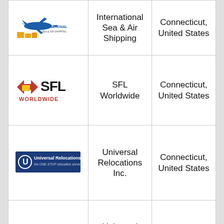| Logo | Company Name | Location |
| --- | --- | --- |
| [International Sea & Air Shipping logo] | International Sea & Air Shipping | Connecticut, United States |
| [SFL Worldwide logo] | SFL Worldwide | Connecticut, United States |
| [Universal Relocations logo] | Universal Relocations Inc. | Connecticut, United States |
| [Universal Relocations logo] | Universal Relocations Inc. | Delaware, United States |